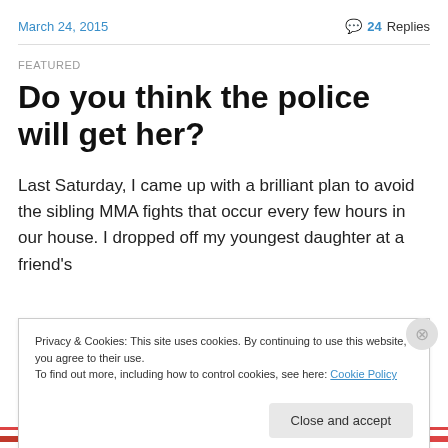March 24, 2015    💬 24 Replies
FEATURED
Do you think the police will get her?
Last Saturday, I came up with a brilliant plan to avoid the sibling MMA fights that occur every few hours in our house. I dropped off my youngest daughter at a friend's
Privacy & Cookies: This site uses cookies. By continuing to use this website, you agree to their use.
To find out more, including how to control cookies, see here: Cookie Policy